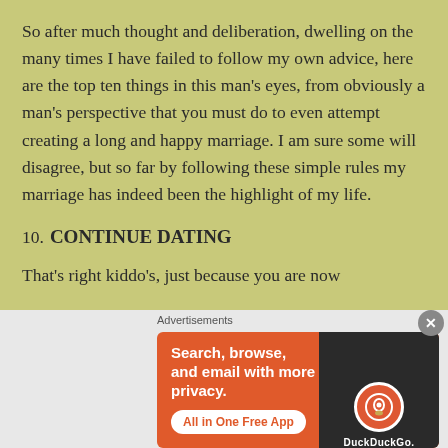So after much thought and deliberation, dwelling on the many times I have failed to follow my own advice, here are the top ten things in this man's eyes, from obviously a man's perspective that you must do to even attempt creating a long and happy marriage. I am sure some will disagree, but so far by following these simple rules my marriage has indeed been the highlight of my life.
10. CONTINUE DATING
That's right kiddo's, just because you are now
[Figure (screenshot): DuckDuckGo advertisement banner with orange/red background. Text reads 'Search, browse, and email with more privacy. All in One Free App' with DuckDuckGo logo on the right side showing a phone mockup.]